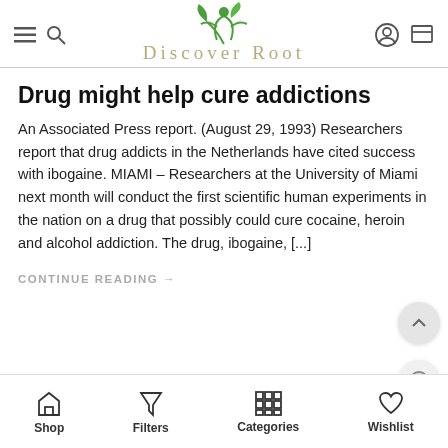Discover Root
Drug might help cure addictions
An Associated Press report. (August 29, 1993) Researchers report that drug addicts in the Netherlands have cited success with ibogaine. MIAMI – Researchers at the University of Miami next month will conduct the first scientific human experiments in the nation on a drug that possibly could cure cocaine, heroin and alcohol addiction. The drug, ibogaine, [...]
CONTINUE READING →
Shop | Filters | Categories | Wishlist